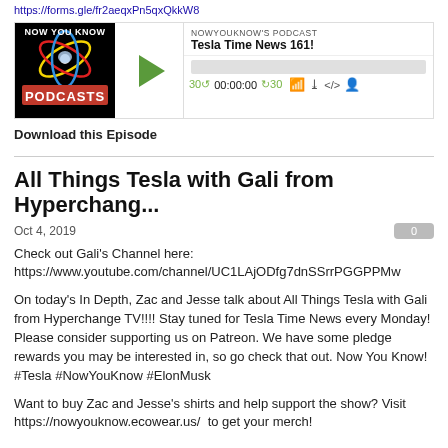https://forms.gle/fr2aeqxPn5qxQkkW8
[Figure (screenshot): Podcast player widget for NowYouKnow's Podcast, episode 'Tesla Time News 161!' with play button, progress bar, time controls showing 00:00:00, and icons for cast, download, embed, and settings.]
Download this Episode
All Things Tesla with Gali from Hyperchang...
Oct 4, 2019
Check out Gali's Channel here:
https://www.youtube.com/channel/UC1LAjODfg7dnSSrrPGGPPMw
On today's In Depth, Zac and Jesse talk about All Things Tesla with Gali from Hyperchange TV!!!! Stay tuned for Tesla Time News every Monday! Please consider supporting us on Patreon. We have some pledge rewards you may be interested in, so go check that out. Now You Know! #Tesla #NowYouKnow #ElonMusk
Want to buy Zac and Jesse's shirts and help support the show? Visit https://nowyouknow.ecowear.us/  to get your merch!